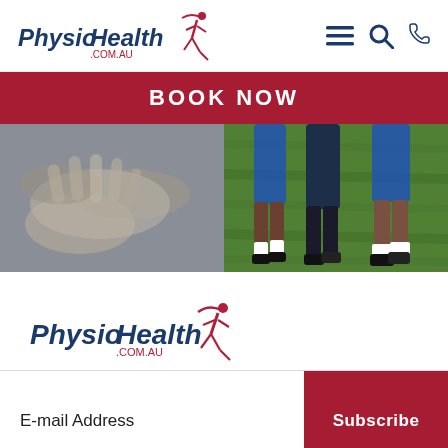PhysioHealth .COM.AU — navigation bar
BOOK NOW
[Figure (photo): Two side-by-side hero images: left shows a close-up of hands (physiotherapy treatment), right shows soccer players' legs on a grass field]
[Figure (logo): PhysioHealth .COM.AU logo in blue italic with red runner figure and red .com.au text]
E-mail Address
Subscribe